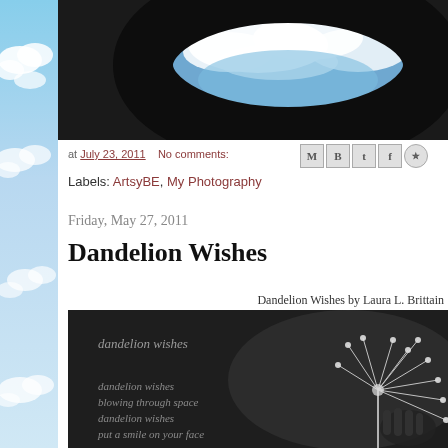[Figure (photo): Circular window/porthole view of sky with clouds against dark surround]
at July 23, 2011   No comments:
[Figure (other): Social sharing icons: Gmail (M), Blogger (B), Twitter (t), Facebook (f), Pinterest (circle-p)]
Labels: ArtsyBE, My Photography
Friday, May 27, 2011
Dandelion Wishes
Dandelion Wishes by Laura L. Brittain
[Figure (photo): Black and white artwork image with dandelion seeds and handwritten-style text reading 'dandelion wishes' and 'dandelion wishes / blowing through space / dandelion wishes / put a smile on your face']